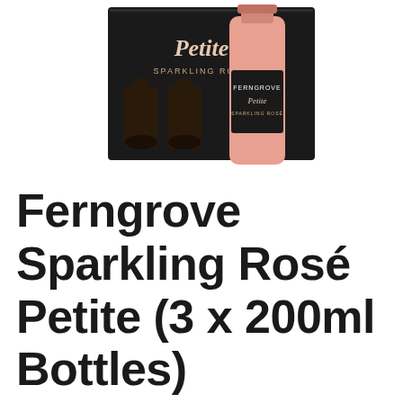[Figure (photo): Product photo of Ferngrove Petite Sparkling Rosé — a black gift box containing three small dark bottles and one pink/rose-colored bottle with a black label reading FERNGROVE Petite SPARKLING ROSÉ, against a white background.]
Ferngrove Sparkling Rosé Petite (3 x 200ml Bottles)